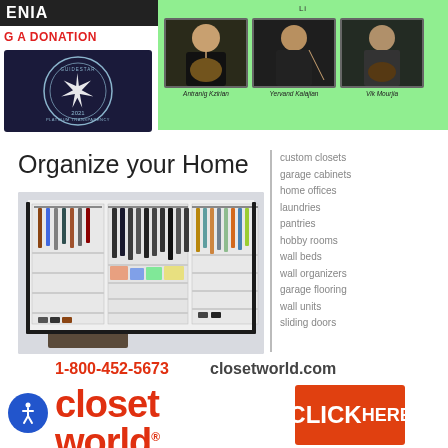[Figure (screenshot): Dark banner with text 'ENIA' in white on dark background]
G A DONATION
[Figure (logo): Guidestar Platinum Transparency 2021 seal on dark navy background]
[Figure (photo): Three Armenian musicians on green background: Antranig Kzirian, Yervand Kalajian, Vik Mourjia]
[Figure (photo): Organized closet system with hanging clothes and shelves]
Organize your Home
custom closets
garage cabinets
home offices
laundries
pantries
hobby rooms
wall beds
wall organizers
garage flooring
wall units
sliding doors
1-800-452-5673  closetworld.com
closet world
CLICK HERE